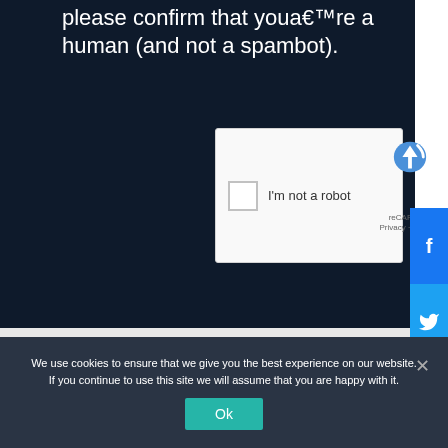please confirm that youâ€™re a human (and not a spambot).
[Figure (screenshot): reCAPTCHA widget with checkbox labeled 'I'm not a robot', reCAPTCHA logo, Privacy and Terms links]
[Figure (infographic): Social sharing buttons: Facebook, Twitter, Email, Plus]
Three glorious black and white Public Service Announcements remind an "ordinary Joe" not to be "Joe Shmoe." How? "Don't be prejudiced."
We use cookies to ensure that we give you the best experience on our website. If you continue to use this site we will assume that you are happy with it.